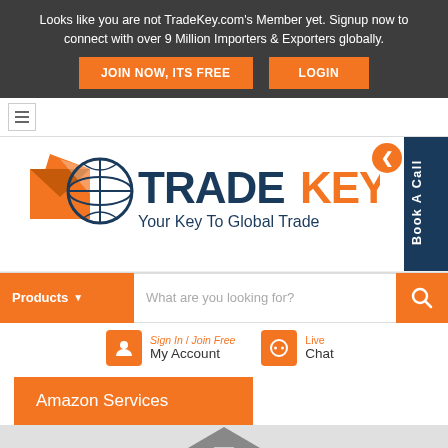Looks like you are not TradeKey.com's Member yet. Signup now to connect with over 9 Million Importers & Exporters globally.
JOIN NOW, ITS FREE
LOGIN
[Figure (logo): TradeKey logo with globe icon and tagline 'Your Key To Global Trade']
Book A Call
Products
What are you looking for?
Sign In / Join Free My Account
Live Chat
Amazon Services